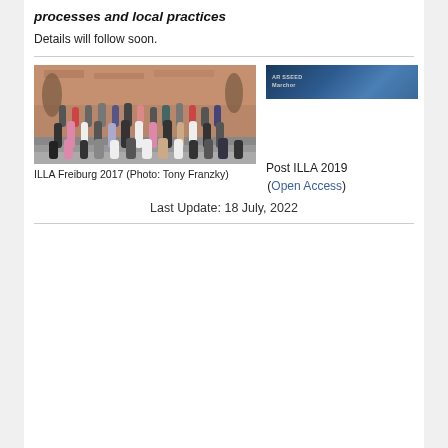processes and local practices
Details will follow soon.
[Figure (photo): Group photo of ILLA Freiburg 2017 participants on steps outside a red stone building with statues, labeled Photo: Tony Franzky]
[Figure (screenshot): Dark blue banner image for Post ILLA 2019]
ILLA Freiburg 2017 (Photo: Tony Franzky)
Post ILLA 2019 (Open Access)
Last Update: 18 July, 2022